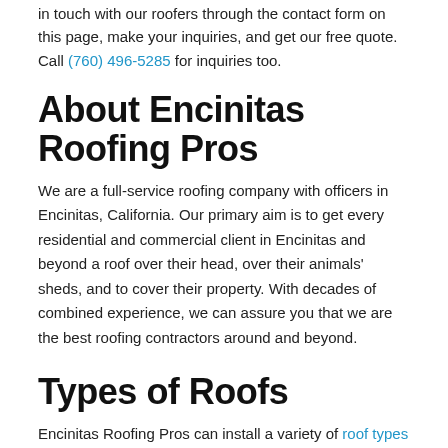in touch with our roofers through the contact form on this page, make your inquiries, and get our free quote. Call (760) 496-5285 for inquiries too.
About Encinitas Roofing Pros
We are a full-service roofing company with officers in Encinitas, California. Our primary aim is to get every residential and commercial client in Encinitas and beyond a roof over their head, over their animals' sheds, and to cover their property. With decades of combined experience, we can assure you that we are the best roofing contractors around and beyond.
Types of Roofs
Encinitas Roofing Pros can install a variety of roof types in Encinitas depending on your needs, purposes, tastes